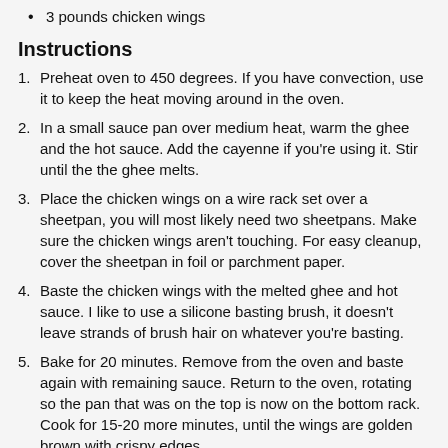3 pounds chicken wings
Instructions
Preheat oven to 450 degrees. If you have convection, use it to keep the heat moving around in the oven.
In a small sauce pan over medium heat, warm the ghee and the hot sauce. Add the cayenne if you're using it. Stir until the the ghee melts.
Place the chicken wings on a wire rack set over a sheetpan, you will most likely need two sheetpans. Make sure the chicken wings aren't touching. For easy cleanup, cover the sheetpan in foil or parchment paper.
Baste the chicken wings with the melted ghee and hot sauce. I like to use a silicone basting brush, it doesn't leave strands of brush hair on whatever you're basting.
Bake for 20 minutes. Remove from the oven and baste again with remaining sauce. Return to the oven, rotating so the pan that was on the top is now on the bottom rack. Cook for 15-20 more minutes, until the wings are golden brown with crispy edges.